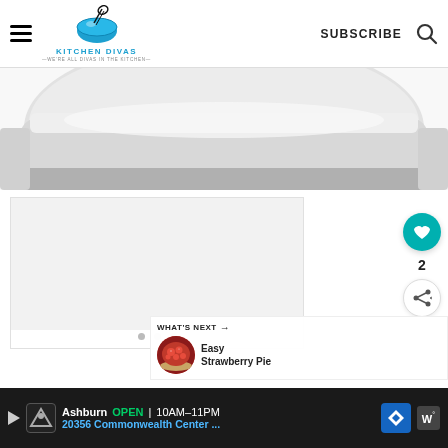Kitchen Divas — WE'RE ALL DIVAS IN THE KITCHEN — SUBSCRIBE
[Figure (photo): Cropped photo of a white ceramic baking dish on a light background]
[Figure (photo): White gallery/slideshow area with three navigation dots at bottom]
[Figure (other): Teal circular heart/like button showing count of 2, and a white circular share button]
[Figure (other): What's Next panel with thumbnail of a strawberry pie and text 'Easy Strawberry Pie']
Ashburn OPEN 10AM–11PM 20356 Commonwealth Center ...